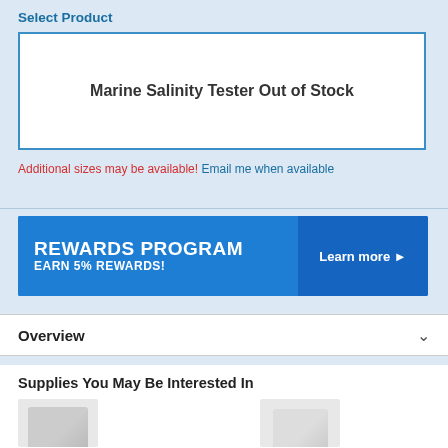Select Product
Marine Salinity Tester Out of Stock
Additional sizes may be available! Email me when available
[Figure (infographic): Rewards Program banner: 'REWARDS PROGRAM EARN 5% REWARDS!' with 'Learn more ▶' button on the right]
Overview
Supplies You May Be Interested In